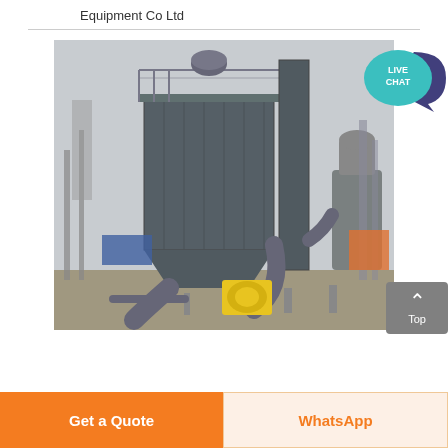Equipment Co Ltd
[Figure (photo): Industrial dust collector / grinding mill system installed outdoors. Large dark grey rectangular bag-house filter unit on the left with a hopper bottom, a tall central cylindrical exhaust stack, curved ductwork, a yellow blower fan unit at base, and a vertical mill on the right side. Various piping and structural steelwork visible. Overhead industrial power infrastructure in background.]
LIVE CHAT
Top
Get a Quote
WhatsApp